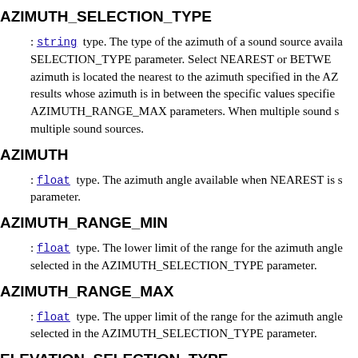AZIMUTH_SELECTION_TYPE
: string type. The type of the azimuth of a sound source available SELECTION_TYPE parameter. Select NEAREST or BETWEEN. azimuth is located the nearest to the azimuth specified in the AZ results whose azimuth is in between the specific values specified AZIMUTH_RANGE_MAX parameters. When multiple sound s multiple sound sources.
AZIMUTH
: float type. The azimuth angle available when NEAREST is s parameter.
AZIMUTH_RANGE_MIN
: float type. The lower limit of the range for the azimuth angle selected in the AZIMUTH_SELECTION_TYPE parameter.
AZIMUTH_RANGE_MAX
: float type. The upper limit of the range for the azimuth angle selected in the AZIMUTH_SELECTION_TYPE parameter.
ELEVATION_SELECTION_TYPE